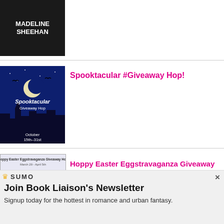[Figure (photo): Book cover image for Madeline Sheehan — dark grayscale cover with author name in white text]
[Figure (illustration): Spooktacular Giveaway Hop banner — dark blue night scene with moon, bats, and text 'October 15th-31st']
Spooktacular #Giveaway Hop!
[Figure (illustration): Hoppy Easter Eggstravaganza Giveaway Hop banner — March 29 - April 5th, with colorful Easter bunnies]
Hoppy Easter Eggstravaganza Giveaway Hop
[Figure (screenshot): Blue banner/background at bottom of page]
SUMO
Join Book Liaison's Newsletter
Signup today for the hottest in romance and urban fantasy.